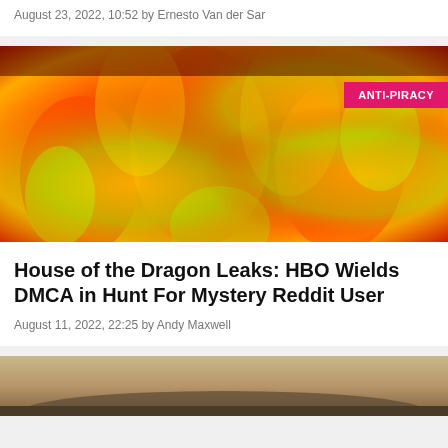August 23, 2022, 10:52 by Ernesto Van der Sar
[Figure (photo): Abstract flame image with red, orange, yellow and green colors, with an ANTI-PIRACY badge in the top right corner]
House of the Dragon Leaks: HBO Wields DMCA in Hunt For Mystery Reddit User
August 11, 2022, 22:25 by Andy Maxwell
[Figure (photo): Partial view of another article image at the bottom, showing a sunset/landscape scene]